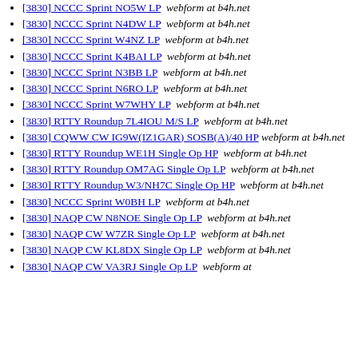[3830] NCCC Sprint NO5W LP  webform at b4h.net
[3830] NCCC Sprint N4DW LP  webform at b4h.net
[3830] NCCC Sprint W4NZ LP  webform at b4h.net
[3830] NCCC Sprint K4BAI LP  webform at b4h.net
[3830] NCCC Sprint N3BB LP  webform at b4h.net
[3830] NCCC Sprint N6RO LP  webform at b4h.net
[3830] NCCC Sprint W7WHY LP  webform at b4h.net
[3830] RTTY Roundup 7L4IOU M/S LP  webform at b4h.net
[3830] CQWW CW IG9W(IZ1GAR) SOSB(A)/40 HP  webform at b4h.net
[3830] RTTY Roundup WE1H Single Op HP  webform at b4h.net
[3830] RTTY Roundup OM7AG Single Op LP  webform at b4h.net
[3830] RTTY Roundup W3/NH7C Single Op HP  webform at b4h.net
[3830] NCCC Sprint W0BH LP  webform at b4h.net
[3830] NAQP CW N8NOE Single Op LP  webform at b4h.net
[3830] NAQP CW W7ZR Single Op LP  webform at b4h.net
[3830] NAQP CW KL8DX Single Op LP  webform at b4h.net
[3830] NAQP CW VA3RJ Single Op LP  webform at b4h.net